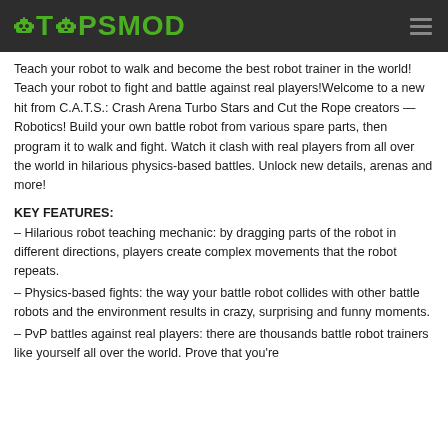TOPSMOD
Teach your robot to walk and become the best robot trainer in the world! Teach your robot to fight and battle against real players!Welcome to a new hit from C.A.T.S.: Crash Arena Turbo Stars and Cut the Rope creators — Robotics! Build your own battle robot from various spare parts, then program it to walk and fight. Watch it clash with real players from all over the world in hilarious physics-based battles. Unlock new details, arenas and more!
KEY FEATURES:
– Hilarious robot teaching mechanic: by dragging parts of the robot in different directions, players create complex movements that the robot repeats.
– Physics-based fights: the way your battle robot collides with other battle robots and the environment results in crazy, surprising and funny moments.
– PvP battles against real players: there are thousands battle robot trainers like yourself all over the world. Prove that you're